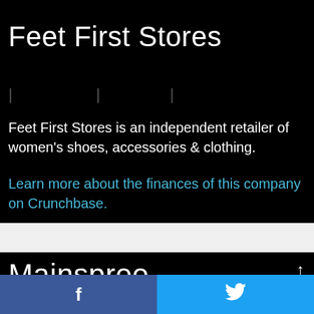Feet First Stores
Feet First Stores is an independent retailer of women's shoes, accessories & clothing.
Learn more about the finances of this company on Crunchbase.
Mainspree